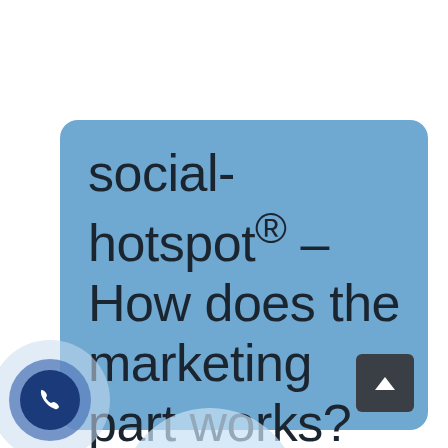social-hotspot® – How does the marketing part works?
[Figure (illustration): Phone call icon with concentric circle rings, dark blue button with white up-arrow chevron, partial arc decoration at bottom]